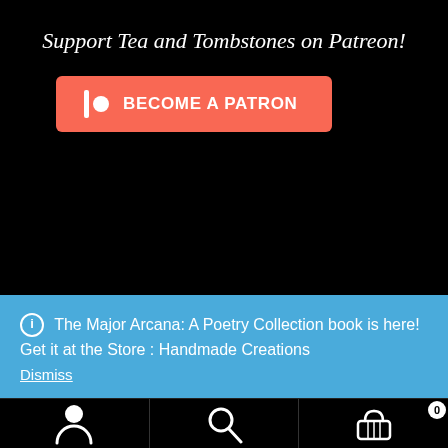Support Tea and Tombstones on Patreon!
[Figure (other): Patreon 'Become a Patron' button in coral/red with Patreon icon (bar and circle) on black background]
ℹ The Major Arcana: A Poetry Collection book is here! Get it at the Store : Handmade Creations
Dismiss
[Figure (other): Bottom navigation bar with three icons: user/person icon, search/magnifying glass icon, and shopping basket icon with badge showing 0]